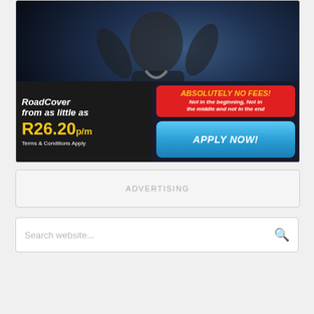[Figure (infographic): Insurance advertisement banner showing a man celebrating with arms raised against a dark background. Bottom section contains: left panel (dark) with 'RoadCover from as little as R26.20p/m Terms & Conditions Apply'; right panel with red box 'ABSOLUTELY NO FEES! Not in the beginning, Not in the middle and not in the end' and blue button 'APPLY NOW!']
ADVERTISING
Search website...